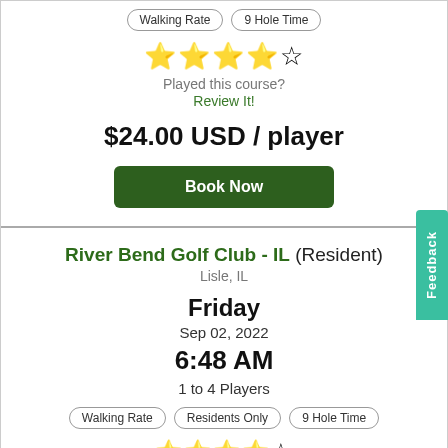Walking Rate | 9 Hole Time
[Figure (illustration): 4 out of 5 star rating shown as golden stars]
Played this course?
Review It!
$24.00 USD / player
Book Now
River Bend Golf Club - IL (Resident)
Lisle, IL
Friday
Sep 02, 2022
6:48 AM
1 to 4 Players
Walking Rate | Residents Only | 9 Hole Time